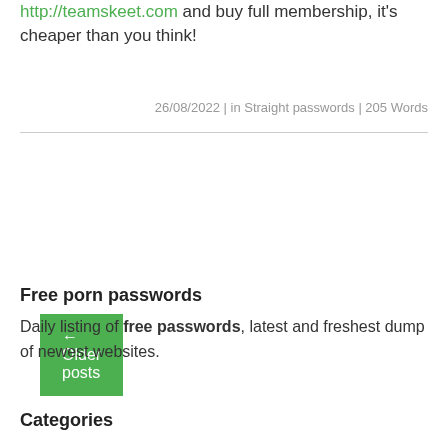http://teamskeet.com and buy full membership, it's cheaper than you think!
26/08/2022 | in Straight passwords | 205 Words
← Older posts
Free porn passwords
Daily listing of free passwords, latest and freshest dump of newest websites.
Categories